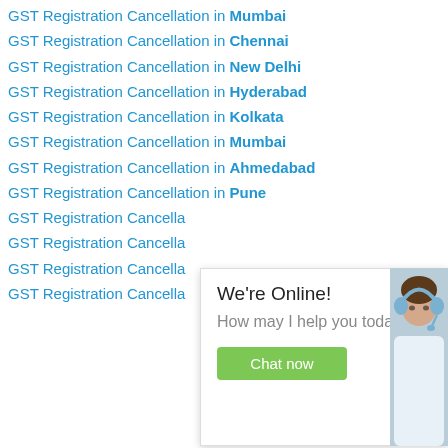GST Registration Cancellation in Mumbai
GST Registration Cancellation in Chennai
GST Registration Cancellation in New Delhi
GST Registration Cancellation in Hyderabad
GST Registration Cancellation in Kolkata
GST Registration Cancellation in Mumbai
GST Registration Cancellation in Ahmedabad
GST Registration Cancellation in Pune
GST Registration Cancella...
GST Registration Cancella...
GST Registration Cancella...
GST Registration Cancella...
[Figure (screenshot): We're Online chat widget showing 'We're Online!', 'How may I help you today?' text, a green 'Chat now' button, and a photo of a customer service agent wearing a headset]
Lo...